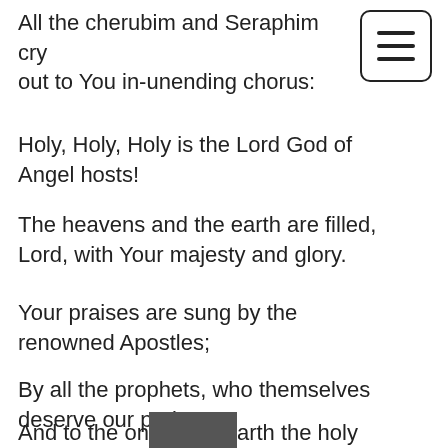All the cherubim and Seraphim cry out to You in-unending chorus:
Holy, Holy, Holy is the Lord God of Angel hosts!
The heavens and the earth are filled, Lord, with Your majesty and glory.
Your praises are sung by the renowned Apostles;
By all the prophets, who themselves deserve our praise;
By that mighty white-robed army who shed their blood for Christ.
And to the on…arth the holy